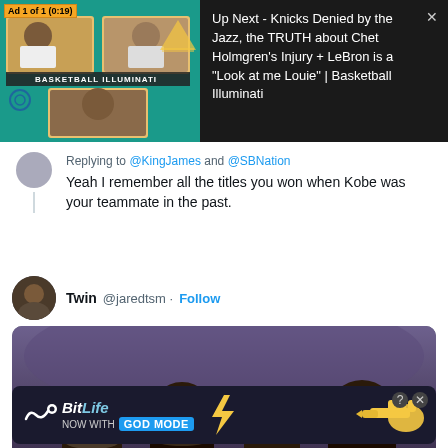[Figure (screenshot): YouTube-style video ad banner showing Basketball Illuminati video thumbnail on left and 'Up Next' description text on dark background on right. Ad label shows 'Ad 1 of 1 (0:19)']
Replying to @KingJames and @SBNation
Yeah I remember all the titles you won when Kobe was your teammate in the past.
Twin @jaredtsm · Follow
[Figure (photo): Photo of basketball players (including Kobe Bryant and LeBron James) smiling with gold medals at what appears to be the Olympics]
[Figure (screenshot): BitLife mobile game advertisement - NOW WITH GOD MODE]